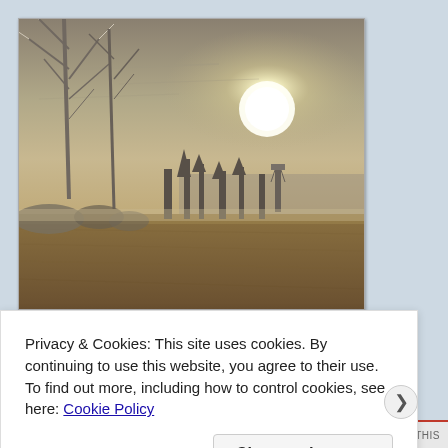[Figure (photo): Winter landscape photograph showing frost-covered bare trees on the left, a field of dry golden grass in the foreground, a treeline in the background, and a hazy sun in an overcast sky]
Privacy & Cookies: This site uses cookies. By continuing to use this website, you agree to their use.
To find out more, including how to control cookies, see here: Cookie Policy